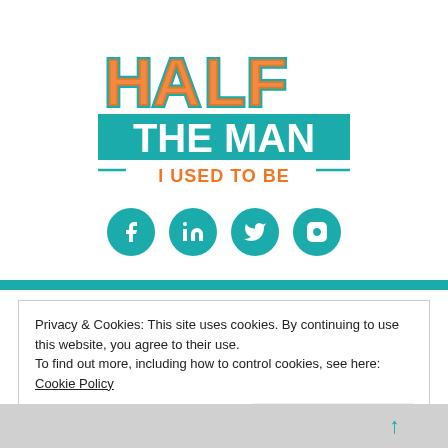[Figure (logo): Half The Man I Used To Be logo — 'HALF' in teal outlines with orange fill letters, 'THE MAN' in white bold text on teal rectangle, 'I USED TO BE' in orange bold text with teal dashes on sides]
[Figure (infographic): Four teal circular social media icons: Facebook, LinkedIn, Twitter, Instagram]
Privacy & Cookies: This site uses cookies. By continuing to use this website, you agree to their use.
To find out more, including how to control cookies, see here: Cookie Policy
Close and accept